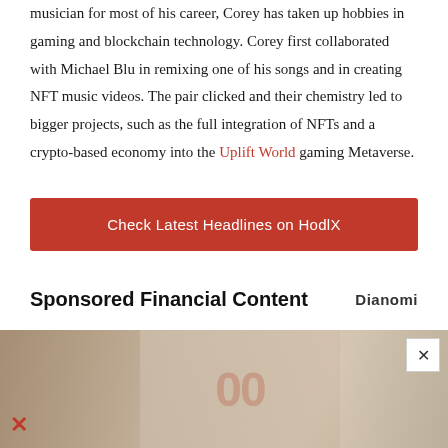musician for most of his career, Corey has taken up hobbies in gaming and blockchain technology. Corey first collaborated with Michael Blu in remixing one of his songs and in creating NFT music videos. The pair clicked and their chemistry led to bigger projects, such as the full integration of NFTs and a crypto-based economy into the Uplift World gaming Metaverse.
Check Latest Headlines on HodlX
Sponsored Financial Content
[Figure (photo): Sponsored financial content advertisement image showing money/currency and calculator, partially visible with a close (x) button overlay]